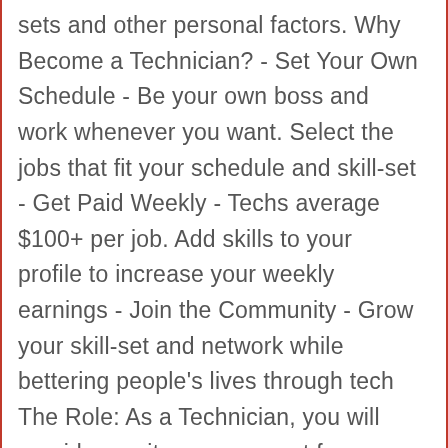sets and other personal factors. Why Become a Technician? - Set Your Own Schedule - Be your own boss and work whenever you want. Select the jobs that fit your schedule and skill-set - Get Paid Weekly - Techs average $100+ per job. Add skills to your profile to increase your weekly earnings - Join the Community - Grow your skill-set and network while bettering people's lives through tech The Role: As a Technician, you will provide on-site user support for customers in need of help with their various technology devices and